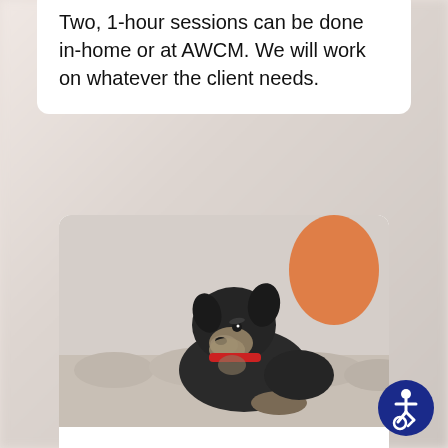Two, 1-hour sessions can be done in-home or at AWCM. We will work on whatever the client needs.
[Figure (photo): A small black and tan schnauzer dog with a red collar sitting on a grey tufted couch, looking to its left. Background shows a bright room with orange and blue accents.]
Four Hour Private
$350